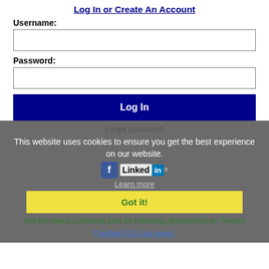Log In or Create An Account
Username:
Password:
Log In
Forgot password?
This website uses cookies to ensure you get the best experience on our website.
Learn more
Got it!
Get the latest California jobs by following @recnetCA on Twitter!
Fairfield RSS job feeds